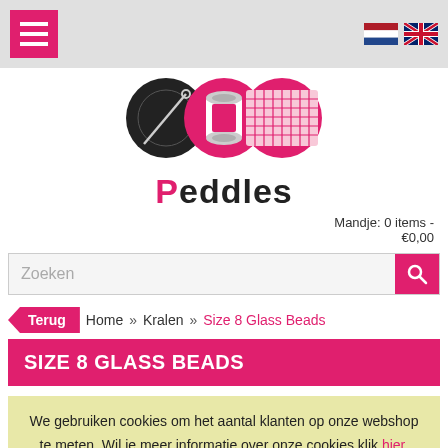Peddles webshop header with hamburger menu and language flags (NL, EN)
[Figure (logo): Peddles logo: three circular icons (needle/thread, spool, cross-stitch grid) above the text 'Peddles' in bold black with a pink 'e']
Mandje: 0 items - €0,00
Zoeken
Terug  Home » Kralen » Size 8 Glass Beads
SIZE 8 GLASS BEADS
We gebruiken cookies om het aantal klanten op onze webshop te meten. Wil je meer informatie over onze cookies klik hier.
Verberg deze melding ×